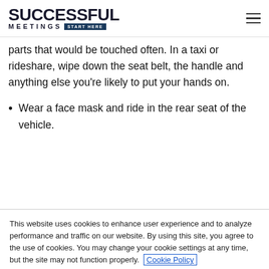SUCCESSFUL MEETINGS START HERE
parts that would be touched often. In a taxi or rideshare, wipe down the seat belt, the handle and anything else you're likely to put your hands on.
Wear a face mask and ride in the rear seat of the vehicle.
This website uses cookies to enhance user experience and to analyze performance and traffic on our website. By using this site, you agree to the use of cookies. You may change your cookie settings at any time, but the site may not function properly. Cookie Policy
Close